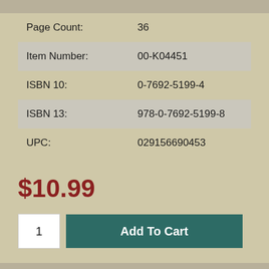| Field | Value |
| --- | --- |
| Page Count: | 36 |
| Item Number: | 00-K04451 |
| ISBN 10: | 0-7692-5199-4 |
| ISBN 13: | 978-0-7692-5199-8 |
| UPC: | 029156690453 |
$10.99
1
Add To Cart